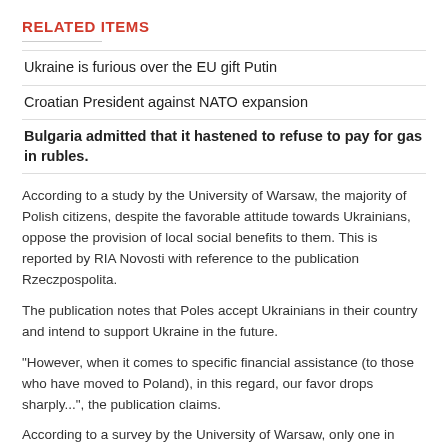RELATED ITEMS
Ukraine is furious over the EU gift Putin
Croatian President against NATO expansion
Bulgaria admitted that it hastened to refuse to pay for gas in rubles.
According to a study by the University of Warsaw, the majority of Polish citizens, despite the favorable attitude towards Ukrainians, oppose the provision of local social benefits to them. This is reported by RIA Novosti with reference to the publication Rzeczpospolita.
The publication notes that Poles accept Ukrainians in their country and intend to support Ukraine in the future.
"However, when it comes to specific financial assistance (to those who have moved to Poland), in this regard, our favor drops sharply...", the publication claims.
According to a survey by the University of Warsaw, only one in seven Poles is ready to agree that Ukrainians can receive the same family and social benefits as themselves.